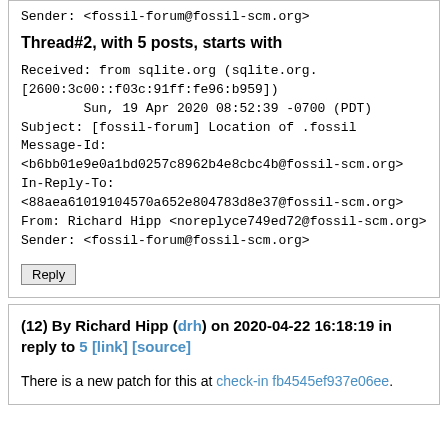Sender: <fossil-forum@fossil-scm.org>
Thread#2, with 5 posts, starts with
Received: from sqlite.org (sqlite.org.
[2600:3c00::f03c:91ff:fe96:b959])
        Sun, 19 Apr 2020 08:52:39 -0700 (PDT)
Subject: [fossil-forum] Location of .fossil
Message-Id:
<b6bb01e9e0a1bd0257c8962b4e8cbc4b@fossil-scm.org>
In-Reply-To:
<88aea61019104570a652e804783d8e37@fossil-scm.org>
From: Richard Hipp <noreplyce749ed72@fossil-scm.org>
Sender: <fossil-forum@fossil-scm.org>
Reply
(12) By Richard Hipp (drh) on 2020-04-22 16:18:19 in reply to 5 [link] [source]
There is a new patch for this at check-in fb4545ef937e06ee.